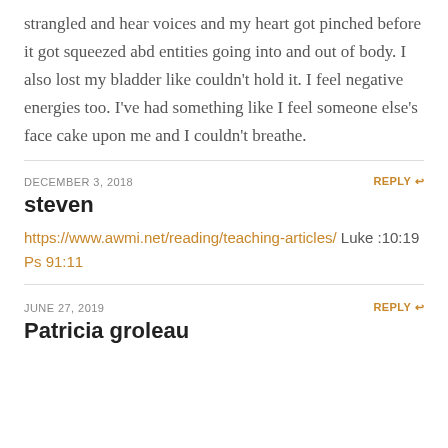strangled and hear voices and my heart got pinched before it got squeezed abd entities going into and out of body. I also lost my bladder like couldn't hold it. I feel negative energies too. I've had something like I feel someone else's face cake upon me and I couldn't breathe.
DECEMBER 3, 2018 | REPLY
steven
https://www.awmi.net/reading/teaching-articles/ Luke :10:19 Ps 91:11
JUNE 27, 2019 | REPLY
Patricia groleau